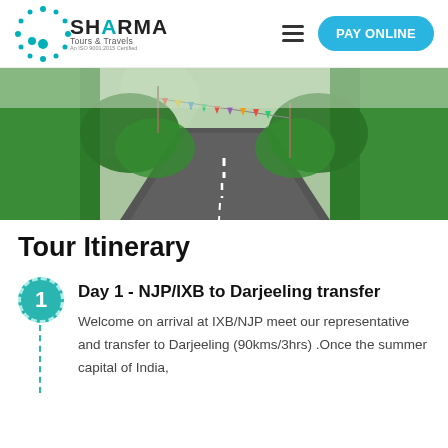Sharma Tours & Travels – PAY ONLINE
[Figure (photo): A winding mountain road through lush green tea gardens in Darjeeling with colorful prayer flags hanging overhead and misty hills in the background]
Tour Itinerary
Day 1 - NJP/IXB to Darjeeling transfer
Welcome on arrival at IXB/NJP meet our representative and transfer to Darjeeling (90kms/3hrs) .Once the summer capital of India,